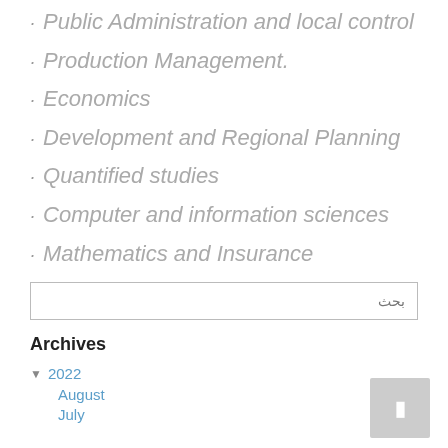Public Administration and local control
Production Management.
Economics
Development and Regional Planning
Quantified studies
Computer and information sciences
Mathematics and Insurance
بحث
Archives
2022
August
July